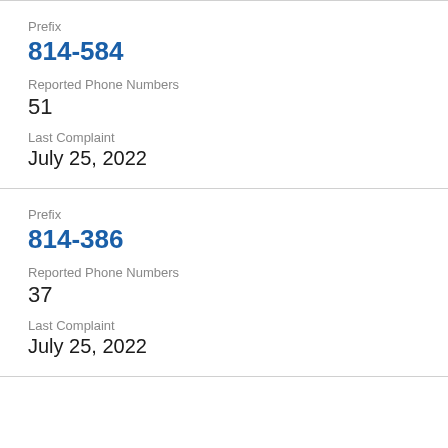Prefix
814-584
Reported Phone Numbers
51
Last Complaint
July 25, 2022
Prefix
814-386
Reported Phone Numbers
37
Last Complaint
July 25, 2022